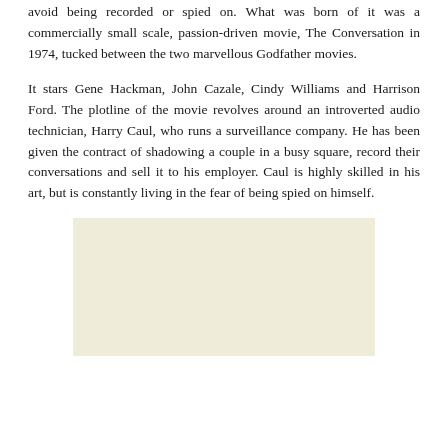avoid being recorded or spied on. What was born of it was a commercially small scale, passion-driven movie, The Conversation in 1974, tucked between the two marvellous Godfather movies.
It stars Gene Hackman, John Cazale, Cindy Williams and Harrison Ford. The plotline of the movie revolves around an introverted audio technician, Harry Caul, who runs a surveillance company. He has been given the contract of shadowing a couple in a busy square, record their conversations and sell it to his employer. Caul is highly skilled in his art, but is constantly living in the fear of being spied on himself.
[Figure (illustration): A blank beige/cream colored rectangular placeholder image]